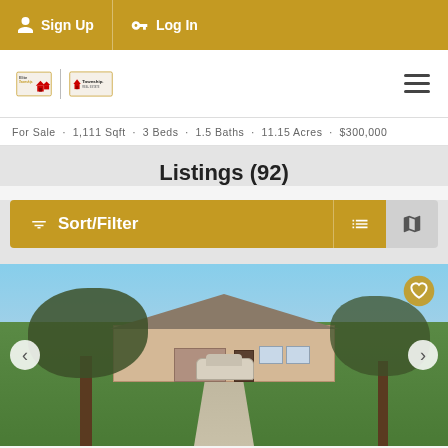Sign Up  Log In
[Figure (logo): Elite Township real estate logo with two brand marks side by side and hamburger menu icon]
For Sale · 1,111 Sqft · 3 Beds · 1.5 Baths · 11.15 Acres · $300,000
Listings (92)
Sort/Filter
[Figure (photo): Exterior photo of a ranch-style brick home with large trees in front yard, driveway leading up to the house, and a car parked in the driveway. Blue sky visible above.]